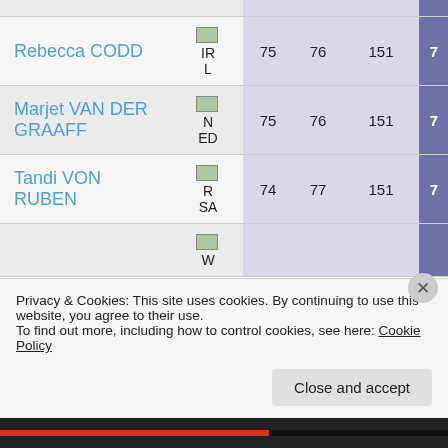| Name | Flag/Country | R1 | R2 | Total |  |
| --- | --- | --- | --- | --- | --- |
| Rebecca CODD | IRL | 75 | 76 | 151 | 7 |
| Marjet VAN DER GRAAFF | NED | 75 | 76 | 151 | 7 |
| Tandi VON RUBEN | RSA | 74 | 77 | 151 | 7 |
|  | W... |  |  |  |  |
Privacy & Cookies: This site uses cookies. By continuing to use this website, you agree to their use.
To find out more, including how to control cookies, see here: Cookie Policy